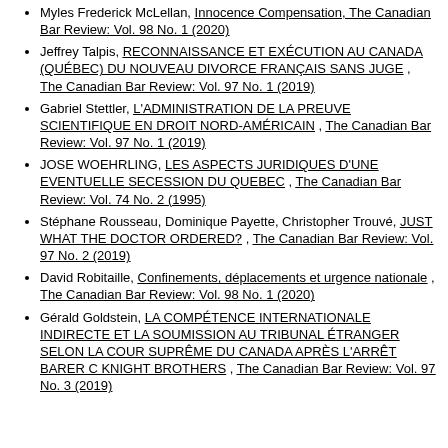Myles Frederick McLellan, Innocence Compensation, The Canadian Bar Review: Vol. 98 No. 1 (2020)
Jeffrey Talpis, RECONNAISSANCE ET EXÉCUTION AU CANADA (QUÉBEC) DU NOUVEAU DIVORCE FRANÇAIS SANS JUGE, The Canadian Bar Review: Vol. 97 No. 1 (2019)
Gabriel Stettler, L'ADMINISTRATION DE LA PREUVE SCIENTIFIQUE EN DROIT NORD-AMÉRICAIN, The Canadian Bar Review: Vol. 97 No. 1 (2019)
JOSE WOEHRLING, LES ASPECTS JURIDIQUES D'UNE EVENTUELLE SECESSION DU QUEBEC, The Canadian Bar Review: Vol. 74 No. 2 (1995)
Stéphane Rousseau, Dominique Payette, Christopher Trouvé, JUST WHAT THE DOCTOR ORDERED?, The Canadian Bar Review: Vol. 97 No. 2 (2019)
David Robitaille, Confinements, déplacements et urgence nationale, The Canadian Bar Review: Vol. 98 No. 1 (2020)
Gérald Goldstein, LA COMPÉTENCE INTERNATIONALE INDIRECTE ET LA SOUMISSION AU TRIBUNAL ÉTRANGER SELON LA COUR SUPRÊME DU CANADA APRÈS L'ARRÊT BARER C KNIGHT BROTHERS, The Canadian Bar Review: Vol. 97 No. 3 (2019)